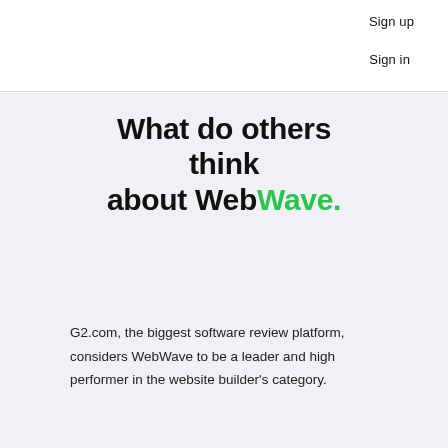Sign up
Sign in
What do others think about WebWave.
G2.com, the biggest software review platform, considers WebWave to be a leader and high performer in the website builder's category.